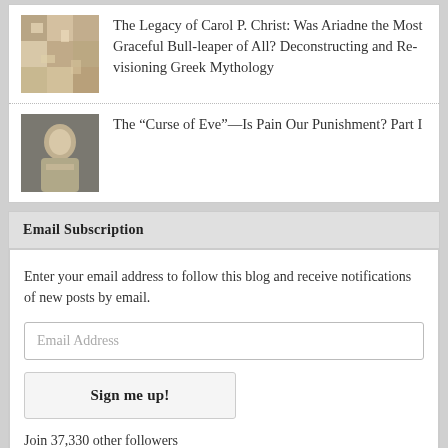The Legacy of Carol P. Christ: Was Ariadne the Most Graceful Bull-leaper of All? Deconstructing and Re-visioning Greek Mythology
The “Curse of Eve”—Is Pain Our Punishment? Part I
Email Subscription
Enter your email address to follow this blog and receive notifications of new posts by email.
Email Address
Sign me up!
Join 37,330 other followers